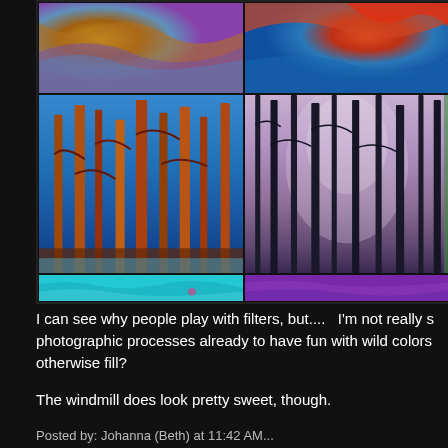[Figure (photo): A grid of 6 photo panels showing abstract/filtered nature photography. Top row: two abstract color-filtered images with blue, orange, red, purple tones. Middle row: left panel shows tall trees with orange/brown tones against blue sky; right panel shows dark tree silhouettes against pink/purple/green misty background. Bottom row: two color strips — cyan/teal on left, purple on right.]
I can see why people play with filters, but....  I'm not really s... photographic processes already to have fun with wild colors... otherwise fill?
The windmill does look pretty sweet, though.
Posted by: Johanna (Beth) at 11:42 AM...